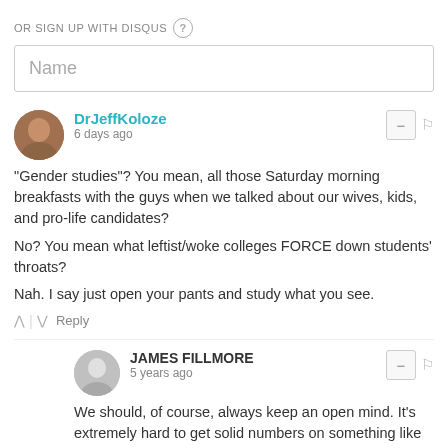OR SIGN UP WITH DISQUS ?
Name
DrJeffKoloze
6 days ago
"Gender studies"? You mean, all those Saturday morning breakfasts with the guys when we talked about our wives, kids, and pro-life candidates?

No? You mean what leftist/woke colleges FORCE down students' throats?

Nah. I say just open your pants and study what you see.
Reply
JAMES FILLMORE
5 years ago
We should, of course, always keep an open mind. It's extremely hard to get solid numbers on something like sexual orientation. Maybe destigmatization will mean that more bi people will experiment with same sex